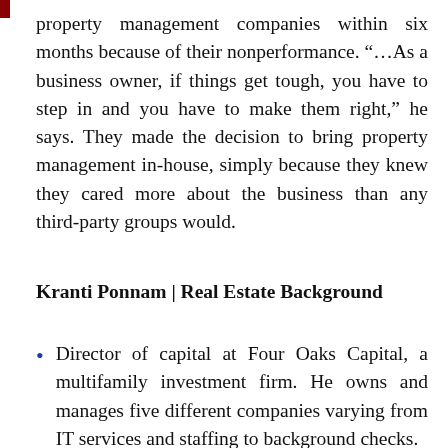property management companies within six months because of their nonperformance. “…As a business owner, if things get tough, you have to step in and you have to make them right,” he says. They made the decision to bring property management in-house, simply because they knew they cared more about the business than any third-party groups would.
Kranti Ponnam | Real Estate Background
Director of capital at Four Oaks Capital, a multifamily investment firm. He owns and manages five different companies varying from IT services and staffing to background checks.